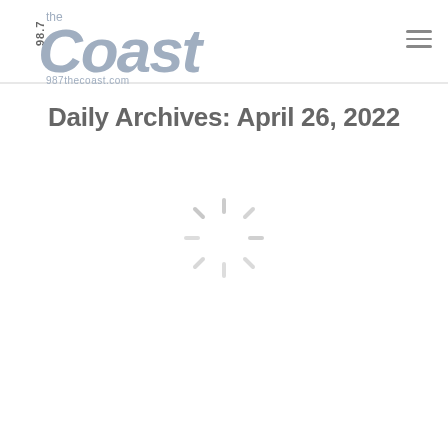[Figure (logo): 98.7 The Coast radio station logo with text '987thecoast.com' below]
Daily Archives: April 26, 2022
[Figure (other): Loading spinner icon — radiating lines in light gray arranged in a circular pattern]